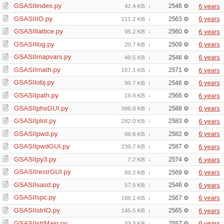| Name | Size | Rev | Age | Author |
| --- | --- | --- | --- | --- |
| GSASIIindex.py | 42.4 KB | 2546 | 6 years | vondre |
| GSASIIIO.py | 111.2 KB | 2563 | 6 years | vondre |
| GSASIIlattice.py | 95.2 KB | 2560 | 6 years | vondre |
| GSASIIlog.py | 20.7 KB | 2509 | 6 years | toby |
| GSASIImapvars.py | 49.5 KB | 2546 | 6 years | vondre |
| GSASIImath.py | 167.1 KB | 2571 | 6 years | vondre |
| GSASIIobj.py | 99.7 KB | 2546 | 6 years | vondre |
| GSASIIpath.py | 19.8 KB | 2566 | 6 years | toby |
| GSASIIphsGUI.py | 386.0 KB | 2588 | 6 years | vondre |
| GSASIIplot.py | 282.0 KB | 2583 | 6 years | vondre |
| GSASIIpwd.py | 88.6 KB | 2582 | 6 years | vondre |
| GSASIIpwdGUI.py | 239.7 KB | 2587 | 6 years | toby |
| GSASIIpy3.py | 7.2 KB | 2574 | 6 years | vondre |
| GSASIIrestrGUI.py | 89.2 KB | 2569 | 6 years | vondre |
| GSASIIsasd.py | 57.5 KB | 2546 | 6 years | vondre |
| GSASIIspc.py | 168.1 KB | 2567 | 6 years | vondre |
| GSASIIstrIO.py | 145.5 KB | 2565 | 6 years | vondre |
| GSASIIstrMain.py | 33.3 KB | 2557 | 6 years | toby |
| GSASIIstrMath.py | 210.0 KB | 2550 | 6 years | vondre |